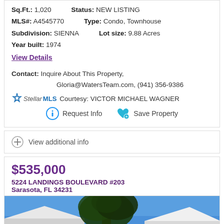Sq.Ft.: 1,020   Status: NEW LISTING
MLS#: A4545770   Type: Condo, Townhouse
Subdivision: SIENNA   Lot size: 9.88 Acres
Year built: 1974
View Details
Contact: Inquire About This Property, Gloria@WatersTeam.com, (941) 356-9386
StellarMLS Courtesy: VICTOR MICHAEL WAGNER
Request Info   Save Property
View additional info
$535,000
5224 LANDINGS BOULEVARD #203
Sarasota, FL 34231
[Figure (photo): Exterior photo of a condo/townhouse with a large tree in foreground, blue sky, and rooftops visible]